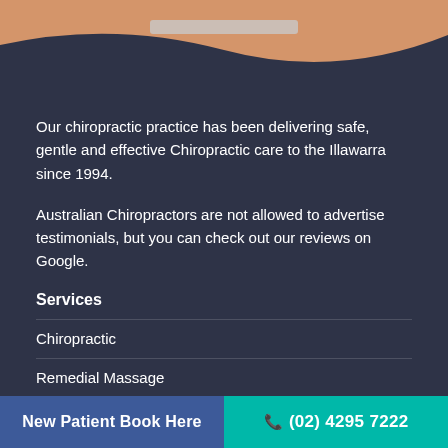[Figure (photo): Close-up photo of a patient's lower back/shoulder area with a bra strap visible, skin tone warm]
Our chiropractic practice has been delivering safe, gentle and effective Chiropractic care to the Illawarra since 1994.
Australian Chiropractors are not allowed to advertise testimonials, but you can check out our reviews on Google.
Services
Chiropractic
Remedial Massage
Digital Foot Scans
New Patient Book Here   (02) 4295 7222